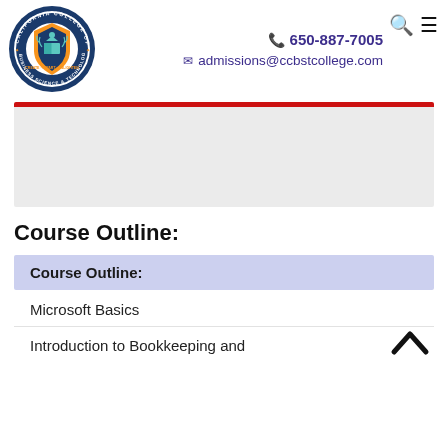[Figure (logo): California College of Business Science & Technology circular seal/logo with orange shield and graduation cap]
650-887-7005
admissions@ccbstcollege.com
[Figure (photo): Gray hero image box with red top border]
Course Outline:
Course Outline:
Microsoft Basics
Introduction to Bookkeeping and